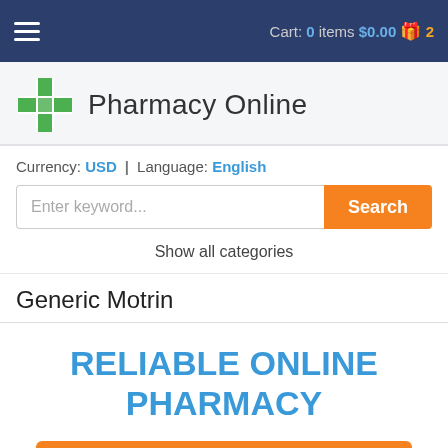Cart: 0 items $0.00 🎁 2
[Figure (logo): Green plus/cross pharmacy logo icon]
Pharmacy Online
Currency: USD | Language: English
Enter keyword...
Show all categories
Generic Motrin
RELIABLE ONLINE PHARMACY
> Click here to order now